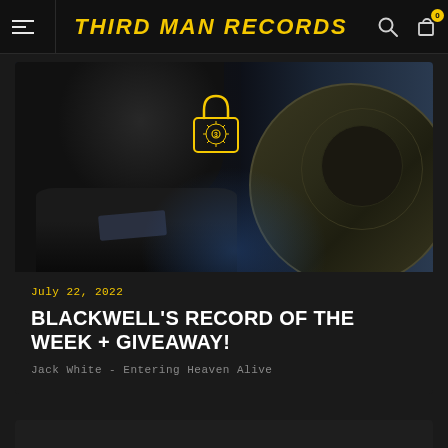THIRD MAN RECORDS
[Figure (photo): Dark moody photo of a person (lower face/chin visible) on the left side, and a vinyl record on the right side, with the Third Man Records padlock logo overlaid in yellow in the center-upper area]
July 22, 2022
BLACKWELL'S RECORD OF THE WEEK + GIVEAWAY!
Jack White - Entering Heaven Alive